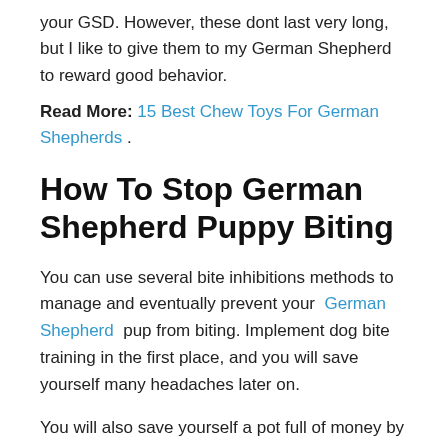your GSD. However, these dont last very long, but I like to give them to my German Shepherd to reward good behavior.
Read More: 15 Best Chew Toys For German Shepherds .
How To Stop German Shepherd Puppy Biting
You can use several bite inhibitions methods to manage and eventually prevent your German Shepherd pup from biting. Implement dog bite training in the first place, and you will save yourself many headaches later on.
You will also save yourself a pot full of money by preventing your puppy from chewing your furniture to shreds.
Heres what you can do to stop your GSD pup from biting